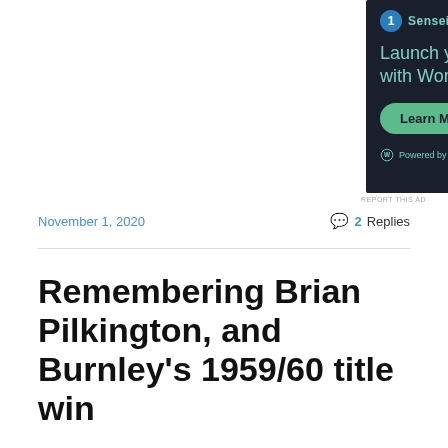[Figure (other): Advertisement for Sensei: 'Launch your online course with WordPress' with a 'Learn More' button and 'Powered by WordPress.com' footer on a dark navy background]
REPORT THIS AD
November 1, 2020
2 Replies
Remembering Brian Pilkington, and Burnley's 1959/60 title win